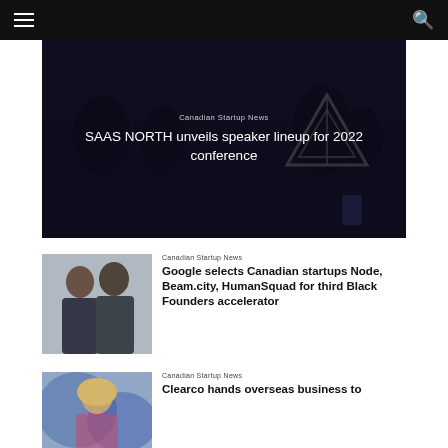Canadian Startup News – navigation bar with hamburger menu and search icon
[Figure (photo): Dark photo of a conference stage with silhouettes and a logo]
Canadian Startup News
SAAS NORTH unveils speaker lineup for 2022 conference
[Figure (photo): Two men standing together, smiling, wearing dark hoodies]
Canadian Startup News
Google selects Canadian startups Node, Beam.city, HumanSquad for third Black Founders accelerator
[Figure (photo): Blonde woman speaking or presenting at an event]
Canadian Startup News
Clearco hands overseas business to